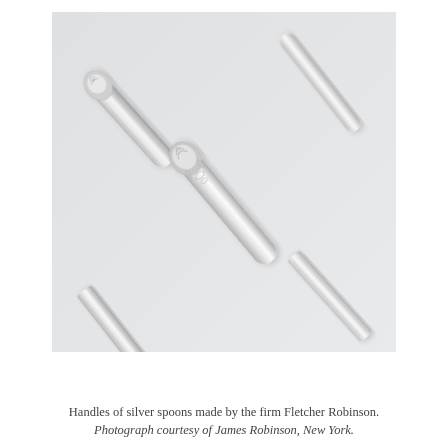[Figure (photo): Close-up photograph of handles of silver spoons made by the firm Fletcher Robinson, arranged diagonally on a light gray background. The handles show ornate decorative engravings and plain polished silver finishes.]
Handles of silver spoons made by the firm Fletcher Robinson. Photograph courtesy of James Robinson, New York.